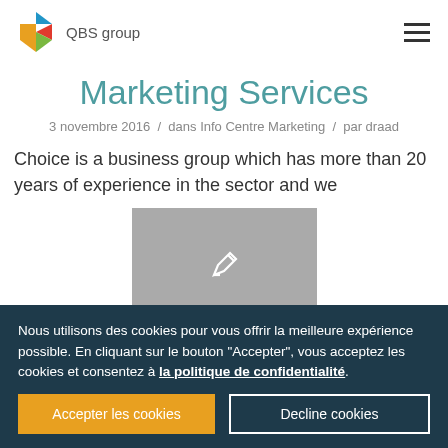QBS group
Marketing Services
3 novembre 2016 / dans Info Centre Marketing / par draad
Choice is a business group which has more than 20 years of experience in the sector and we
[Figure (photo): Grey placeholder image with pencil/edit icon]
Nous utilisons des cookies pour vous offrir la meilleure expérience possible. En cliquant sur le bouton "Accepter", vous acceptez les cookies et consentez à la politique de confidentialité.
Accepter les cookies | Decline cookies